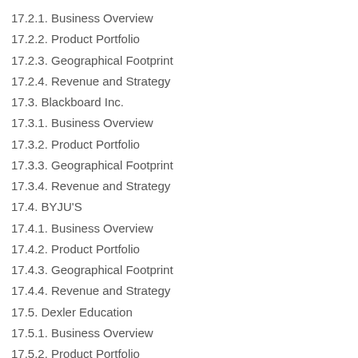17.2.1. Business Overview
17.2.2. Product Portfolio
17.2.3. Geographical Footprint
17.2.4. Revenue and Strategy
17.3. Blackboard Inc.
17.3.1. Business Overview
17.3.2. Product Portfolio
17.3.3. Geographical Footprint
17.3.4. Revenue and Strategy
17.4. BYJU'S
17.4.1. Business Overview
17.4.2. Product Portfolio
17.4.3. Geographical Footprint
17.4.4. Revenue and Strategy
17.5. Dexler Education
17.5.1. Business Overview
17.5.2. Product Portfolio
17.5.3. Geographical Footprint
17.5.4. Revenue and Strategy